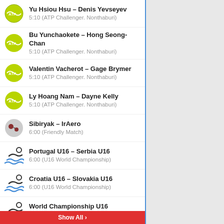Yu Hsiou Hsu – Denis Yevseyev
5:10 (ATP Challenger. Nonthaburi)
Bu Yunchaokete – Hong Seong-Chan
5:10 (ATP Challenger. Nonthaburi)
Valentin Vacherot – Gage Brymer
5:10 (ATP Challenger. Nonthaburi)
Ly Hoang Nam – Dayne Kelly
5:10 (ATP Challenger. Nonthaburi)
Sibiryak – IrAero
6:00 (Friendly Match)
Portugal U16 – Serbia U16
6:00 (U16 World Championship)
Croatia U16 – Slovakia U16
6:00 (U16 World Championship)
World Championship U16
6:00 (U16 World Championship)
Women. U-16 World Cup
6:00 (Women. U-16 World Cup)
Challenger Series
6:30 (Challenger Series)
Yuta Shimizu – Yasutaka Uchiyama
6:40 (ATP Challenger. Nonthaburi)